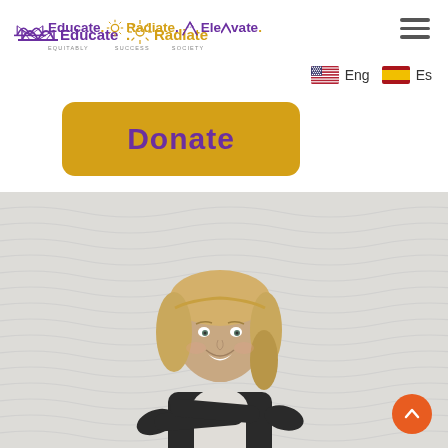[Figure (logo): Educate.Radiate.Elevate. logo with bridge and sun icons, taglines: Equitably, Success, Society]
[Figure (illustration): Hamburger menu icon (three horizontal lines)]
[Figure (illustration): Language selector with US flag 'Eng' and Spanish flag 'Es']
[Figure (illustration): Golden/yellow rounded rectangle Donate button with purple bold text 'Donate']
[Figure (photo): Professional headshot of a smiling blonde woman in a dark blazer with arms crossed, on a light textured wave-pattern background]
[Figure (illustration): Orange circular scroll-to-top button with upward chevron arrow in bottom right corner]